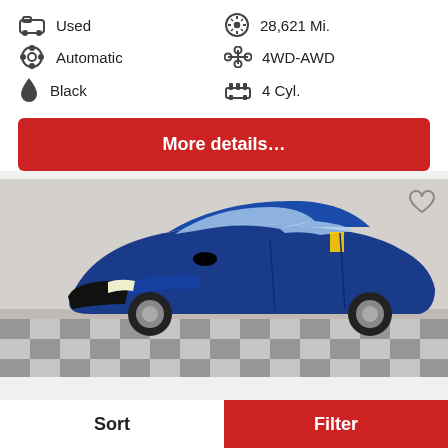Used
28,621 Mi.
Automatic
4WD-AWD
Black
4 Cyl.
More details…
[Figure (photo): Blue Jaguar F-Pace SUV parked on a checkered floor in a dealership showroom, viewed from the front-left angle.]
Sort
Filter